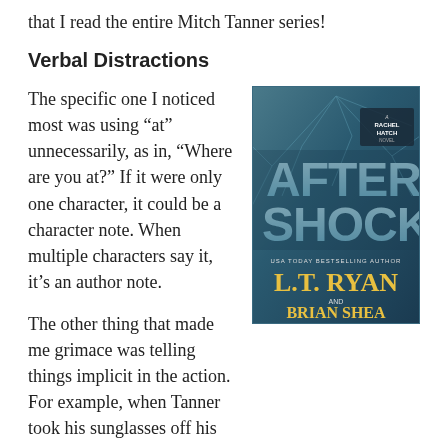that I read the entire Mitch Tanner series!
Verbal Distractions
The specific one I noticed most was using “at” unnecessarily, as in, “Where are you at?” If it were only one character, it could be a character note. When multiple characters say it, it’s an author note.
[Figure (photo): Book cover of 'After Shock', a Rachel Hatch Novel by USA Today Bestselling Author L.T. Ryan and Brian Shea. Dark blue cover with cracked glass texture and large stylized text reading 'AFTER SHOCK'.]
The other thing that made me grimace was telling things implicit in the action. For example, when Tanner took his sunglasses off his